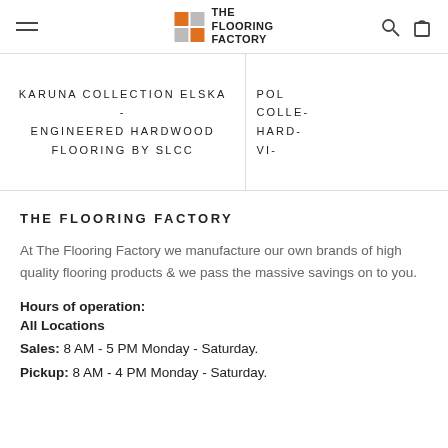The Flooring Factory — site header with hamburger menu, logo, search and bag icons
KARUNA COLLECTION ELSKA - ENGINEERED HARDWOOD FLOORING BY SLCC
POL... COLLE... HARD... VI...
THE FLOORING FACTORY
At The Flooring Factory we manufacture our own brands of high quality flooring products & we pass the massive savings on to you.
Hours of operation:
All Locations
Sales: 8 AM - 5 PM Monday - Saturday.
Pickup: 8 AM - 4 PM Monday - Saturday.